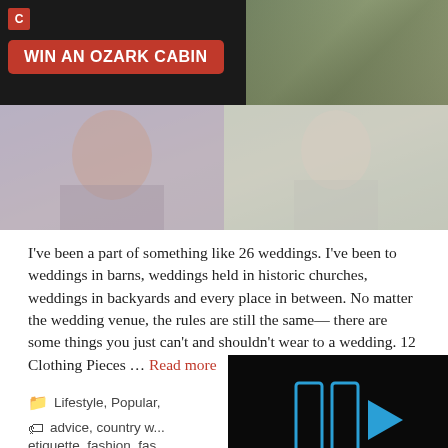[Figure (screenshot): Advertisement banner: dark background with red logo icon and red button reading 'WIN AN OZARK CABIN', alongside a photo of a cabin exterior]
[Figure (photo): Two side-by-side photos: left shows a person in a plaid shirt, right shows a person in white clothing]
I've been a part of something like 26 weddings. I've been to weddings in barns, weddings held in historic churches, weddings in backyards and every place in between. No matter the wedding venue, the rules are still the same— there are some things you just can't and shouldn't wear to a wedding. 12 Clothing Pieces … Read more
Lifestyle, Popular,
advice, country w... etiquette, fashion, fas... fashion, weddings
[Figure (screenshot): Video overlay with dark background showing blue pause/play icons and a mute icon]